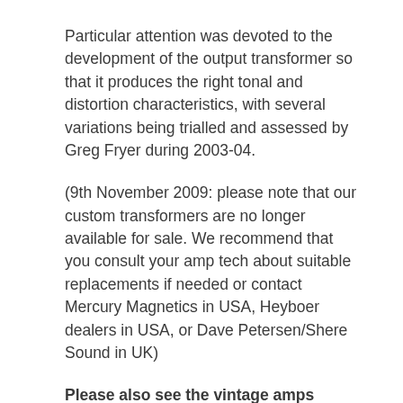Particular attention was devoted to the development of the output transformer so that it produces the right tonal and distortion characteristics, with several variations being trialled and assessed by Greg Fryer during 2003-04.
(9th November 2009: please note that our custom transformers are no longer available for sale. We recommend that you consult your amp tech about suitable replacements if needed or contact Mercury Magnetics in USA, Heyboer dealers in USA, or Dave Petersen/Shere Sound in UK)
Please also see the vintage amps forum at http://vintageamps.com/plexiboard/ for an excellent source of Vox and other amp info.